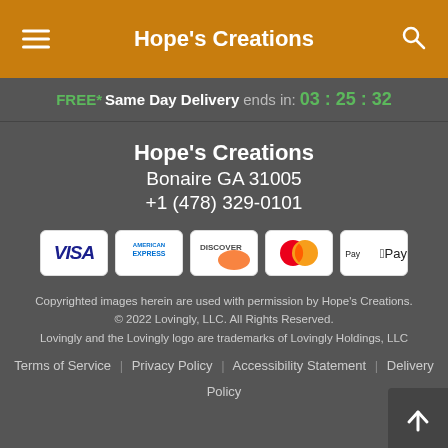Hope's Creations
FREE* Same Day Delivery ends in: 03:25:32
Hope's Creations
Bonaire GA 31005
+1 (478) 329-0101
[Figure (other): Payment method icons: VISA, American Express, Discover, Mastercard, Apple Pay]
Copyrighted images herein are used with permission by Hope's Creations.
© 2022 Lovingly, LLC. All Rights Reserved.
Lovingly and the Lovingly logo are trademarks of Lovingly Holdings, LLC
Terms of Service | Privacy Policy | Accessibility Statement | Delivery Policy